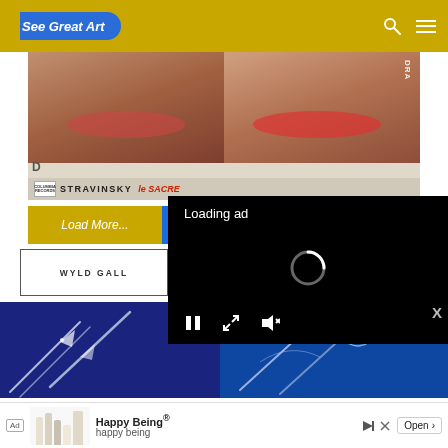See Great Art
[Figure (photo): VHS cassette covers showing female faces, with text THE, CAT, STRAVINSKY, Le SACRE and Columbia Records logo]
Load More...
Follow on Instagram
[Figure (screenshot): Video ad overlay with Loading ad text, spinner, pause, expand and mute controls on black background]
WYLD GALL...
[Figure (photo): Dark blue painting with figures and diagonal lines, resembling a night sky or abstract scene]
X
[Figure (photo): Advertisement banner: Happy Being® happy being with Open button and product bottles]
Ad  Happy Being®  happy being  Open